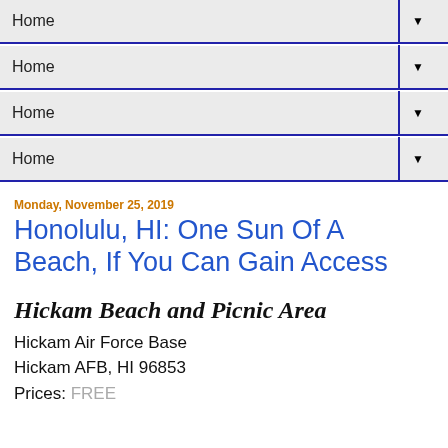Home
Home
Home
Home
Monday, November 25, 2019
Honolulu, HI: One Sun Of A Beach, If You Can Gain Access
Hickam Beach and Picnic Area
Hickam Air Force Base
Hickam AFB, HI 96853
Prices: FREE